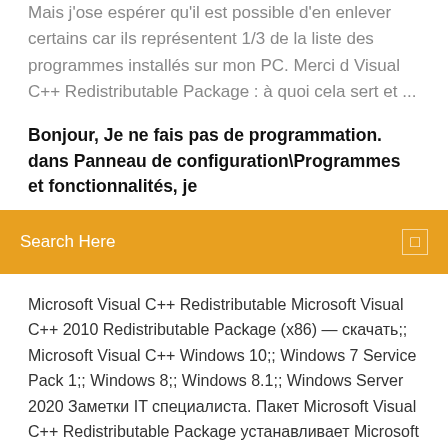Mais j'ose espérer qu'il est possible d'en enlever certains car ils représentent 1/3 de la liste des programmes installés sur mon PC. Merci d Visual C++ Redistributable Package : à quoi cela sert et ...
Bonjour, Je ne fais pas de programmation. dans Panneau de configuration\Programmes et fonctionnalités, je
Search Here
Microsoft Visual C++ Redistributable Microsoft Visual C++ 2010 Redistributable Package (x86) — скачать;; Microsoft Visual C++ Windows 10;; Windows 7 Service Pack 1;; Windows 8;; Windows 8.1;; Windows Server 2020 Заметки IT специалиста. Пакет Microsoft Visual C++ Redistributable Package устанавливает Microsoft Visual C++ 2005-2008-2010-2012-2013-2019 Redistributable Package 20.05. 2020 Microsoft Visual C++ 2010 Redistributable - x86 10.0.30319 False XP SP3 7 SP1 (32-bit) 7 SP1 (64-bit) 8.1 (32-bit) 8.1 (64-bit) 10 (32-bit) 10 (64-bit).